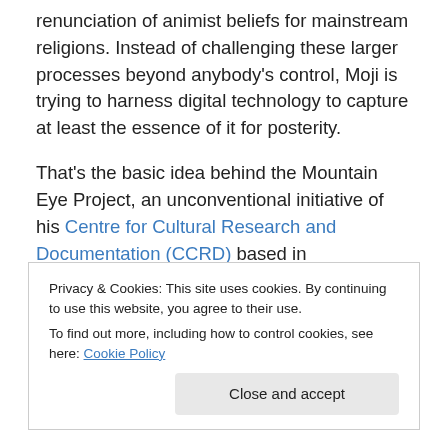renunciation of animist beliefs for mainstream religions. Instead of challenging these larger processes beyond anybody's control, Moji is trying to harness digital technology to capture at least the essence of it for posterity.
That's the basic idea behind the Mountain Eye Project, an unconventional initiative of his Centre for Cultural Research and Documentation (CCRD) based in Naharlagun. Magic Eye aims to create a 'cinematic time capsule' documenting a year in the life of 15 different
Privacy & Cookies: This site uses cookies. By continuing to use this website, you agree to their use.
To find out more, including how to control cookies, see here: Cookie Policy